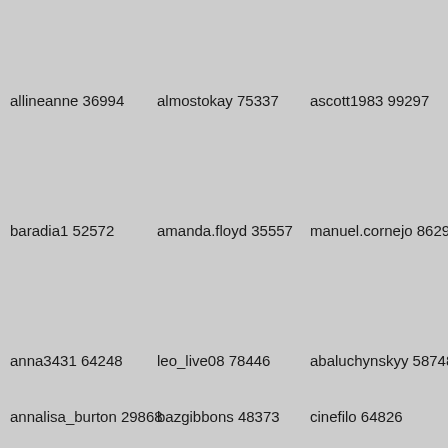allineanne 36994
almostokay 75337
ascott1983 99297
baradia1 52572
amanda.floyd 35557
manuel.cornejo 8629
anna3431 64248
leo_live08 78446
abaluchynskyy 58748
annalisa_burton 29868
bazgibbons 48373
cinefilo 64826